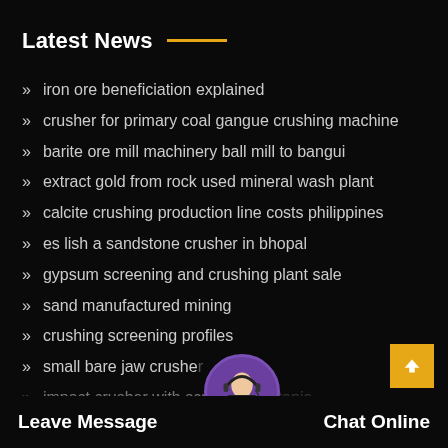Latest News
iron ore beneficiation explained
crusher for primary coal gangue crushing machine
barite ore mill machinery ball mill to bangui
extract gold from rock used mineral wash plant
calcite crushing production line costs philippines
es lish a sandstone crusher in bhopal
gypsum screening and crushing plant sale
sand manufactured mining
crushing screening profiles
small bare jaw crusher
impact crusher with screen mauritania
Leave Message   Chat Online